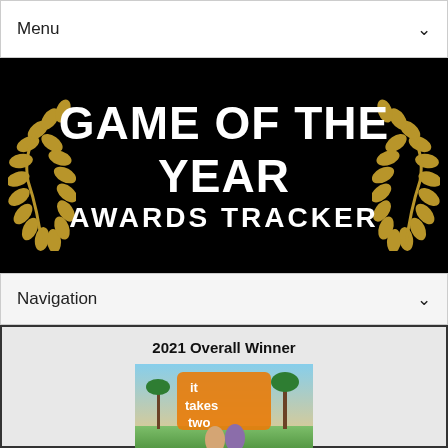Menu
[Figure (illustration): Game of the Year Awards Tracker banner with black background, white bold text reading GAME OF THE YEAR AWARDS TRACKER, and golden laurel wreaths on each side]
Navigation
2021 Overall Winner
[Figure (photo): It Takes Two game cover art showing colorful characters in a tropical setting with the orange It Takes Two logo]